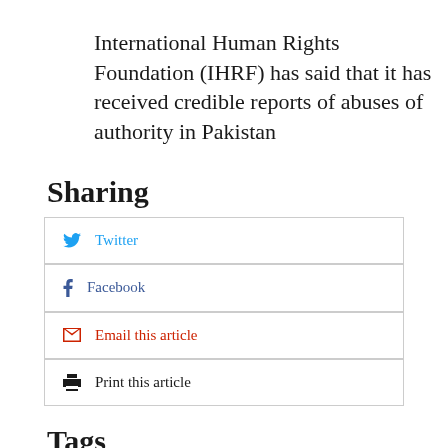International Human Rights Foundation (IHRF) has said that it has received credible reports of abuses of authority in Pakistan
Sharing
Twitter
Facebook
Email this article
Print this article
Tags
South asia, Neighbourhood, International,